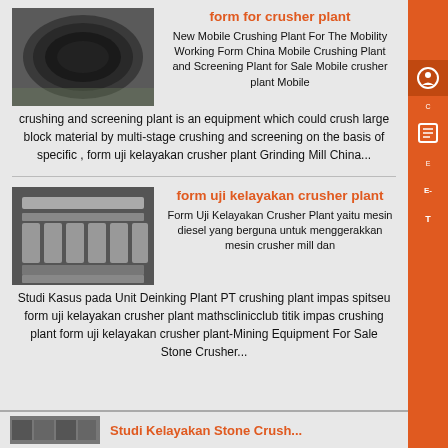form for crusher plant
New Mobile Crushing Plant For The Mobility Working Form China Mobile Crushing Plant and Screening Plant for Sale Mobile crusher plant Mobile crushing and screening plant is an equipment which could crush large block material by multi-stage crushing and screening on the basis of specific , form uji kelayakan crusher plant Grinding Mill China...
form uji kelayakan crusher plant
Form Uji Kelayakan Crusher Plant yaitu mesin diesel yang berguna untuk menggerakkan mesin crusher mill dan Studi Kasus pada Unit Deinking Plant PT crushing plant impas spitseu form uji kelayakan crusher plant mathsclinicclub titik impas crushing plant form uji kelayakan crusher plant-Mining Equipment For Sale Stone Crusher...
Studi Kelayakan Stone Crush...